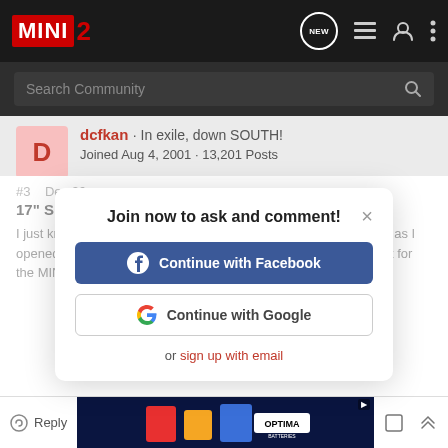MINI2 — Community forum header with navigation icons
Search Community
dcfkan · In exile, down SOUTH! Joined Aug 4, 2001 · 13,201 Posts
#3 Dec 26
17" S spoke wheels for me!
I just knew I had to have those 17" S Spoke alloy wheels as soon as I opened the... Just don't tell my hubby about the replacement cost for the MINI in general.
Join now to ask and comment!
Continue with Facebook
Continue with Google
or sign up with email
Reply | Optima Batteries ad | bookmark | share